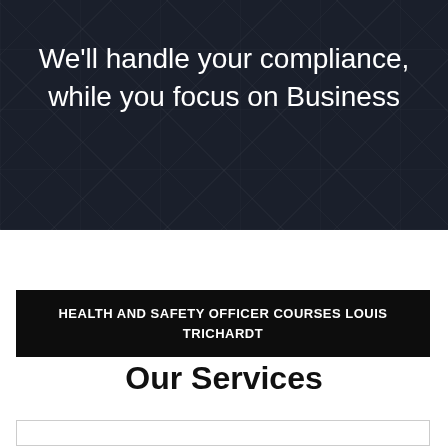We'll handle your compliance, while you focus on Business
HEALTH AND SAFETY OFFICER COURSES LOUIS TRICHARDT
Our Services